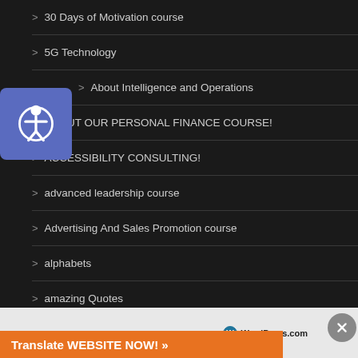> 30 Days of Motivation course
> 5G Technology
> About Intelligence and Operations
> ABOUT OUR PERSONAL FINANCE COURSE!
> ACCESSIBILITY CONSULTING!
> advanced leadership course
> Advertising And Sales Promotion course
> alphabets
> amazing Quotes
[Figure (screenshot): Advertisement banner: Simplified pricing for WordPress.com with WordPress logo and orange Translate WEBSITE NOW button]